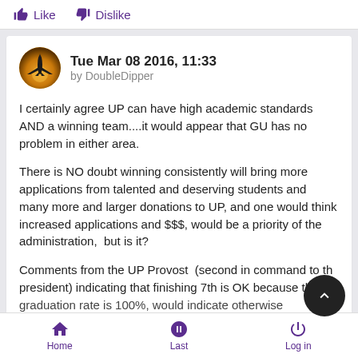Like   Dislike
Tue Mar 08 2016, 11:33
by DoubleDipper
I certainly agree UP can have high academic standards AND a winning team....it would appear that GU has no problem in either area.

There is NO doubt winning consistently will bring more applications from talented and deserving students and many more and larger donations to UP, and one would think increased applications and $$$, would be a priority of the administration, but is it?

Comments from the UP Provost (second in command to the president) indicating that finishing 7th is OK because the graduation rate is 100%, would indicate otherwise
Home   Last   Log in